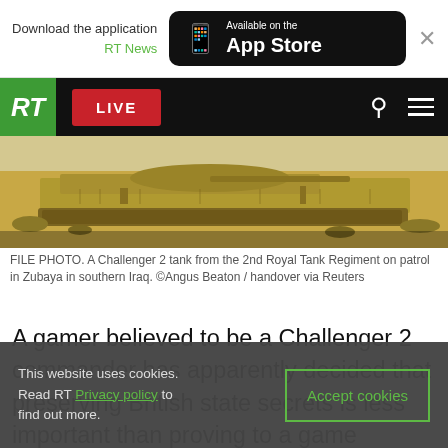Download the application RT News — Available on the App Store
[Figure (screenshot): RT news website navigation bar with green RT logo, red LIVE button, search icon and hamburger menu on black background]
[Figure (photo): A Challenger 2 tank from the 2nd Royal Tank Regiment on patrol in Zubaya in southern Iraq]
FILE PHOTO. A Challenger 2 tank from the 2nd Royal Tank Regiment on patrol in Zubaya in southern Iraq. ©Angus Beaton / handover via Reuters
A gamer believed to be a Challenger 2 commander has apparently decided that preserving British state secrets is less important than proving to a game company that its digital model of his country's main battle tank is inaccurate.
This website uses cookies. Read RT Privacy policy to find out more.